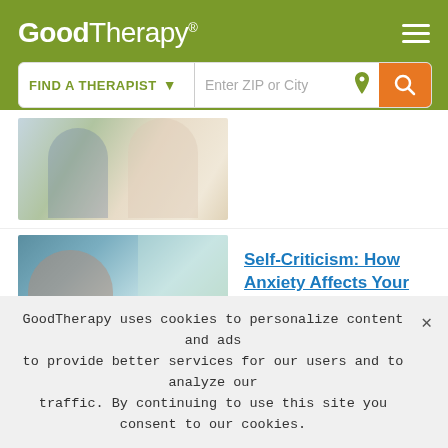GoodTherapy® — Find a Therapist
[Figure (photo): Couple sitting on couch looking at tablet with therapist]
[Figure (photo): Asian woman looking out window with reflection]
Self-Criticism: How Anxiety Affects Your Thoughts
[Figure (photo): Hands clasped together]
Four Ways to Topple Your Negativity Bias
GoodTherapy uses cookies to personalize content and ads to provide better services for our users and to analyze our traffic. By continuing to use this site you consent to our cookies.